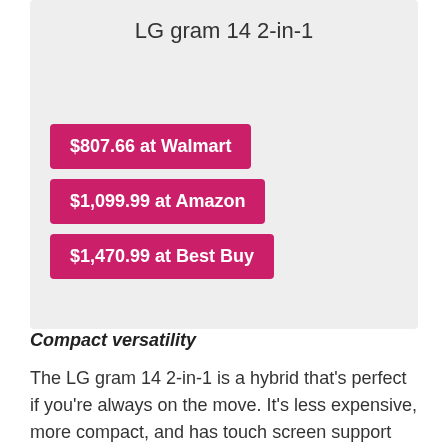LG gram 14 2-in-1
$807.66 at Walmart
$1,099.99 at Amazon
$1,470.99 at Best Buy
Compact versatility
The LG gram 14 2-in-1 is a hybrid that's perfect if you're always on the move. It's less expensive, more compact, and has touch screen support when compared to its LG gram 17 brother, but